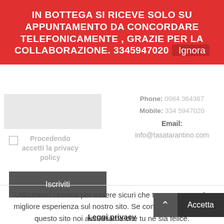IN BOTTEGA SI RICEVE SOLO SU APPUNTAMENTO DA CONCORDARE TELEFONICAMENTE , GRAZIE PER LA COLLABORAZIONE. 3345947020 Ignora
[Figure (screenshot): Grey input box placeholder]
Procedendo accetti la privacy policy
Iscriviti
Phone: 0984 364367
Mobile: 334 5947020
Email:
info@tasatarantino.com
Utilizziamo i cookie per essere sicuri che tu possa avere la migliore esperienza sul nostro sito. Se continui ad utilizzare questo sito noi assumiamo che tu ne sia felice.
Accetta
Leggi privacy